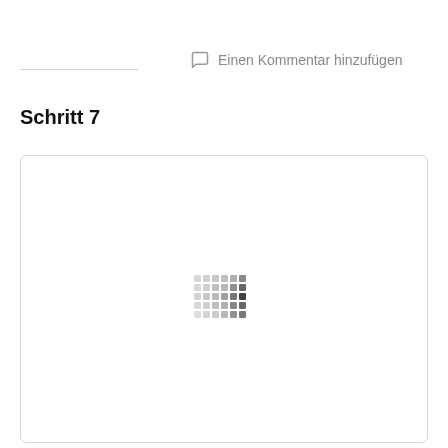Einen Kommentar hinzufügen
Schritt 7
[Figure (screenshot): A white rounded rectangle box with a loading spinner (grid of small dots) in the center, representing a loading image placeholder]